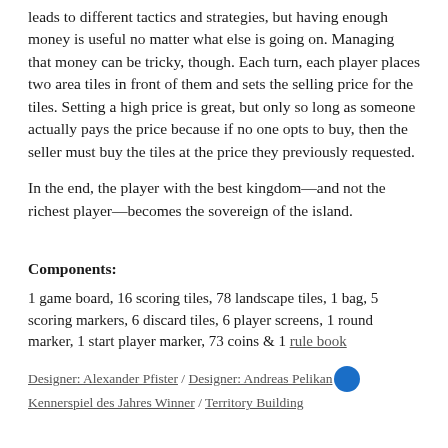leads to different tactics and strategies, but having enough money is useful no matter what else is going on. Managing that money can be tricky, though. Each turn, each player places two area tiles in front of them and sets the selling price for the tiles. Setting a high price is great, but only so long as someone actually pays the price because if no one opts to buy, then the seller must buy the tiles at the price they previously requested.
In the end, the player with the best kingdom—and not the richest player—becomes the sovereign of the island.
Components:
1 game board, 16 scoring tiles, 78 landscape tiles, 1 bag, 5 scoring markers, 6 discard tiles, 6 player screens, 1 round marker, 1 start player marker, 73 coins & 1 rule book
Designer: Alexander Pfister / Designer: Andreas Pelikan / Kennerspiel des Jahres Winner / Territory Building